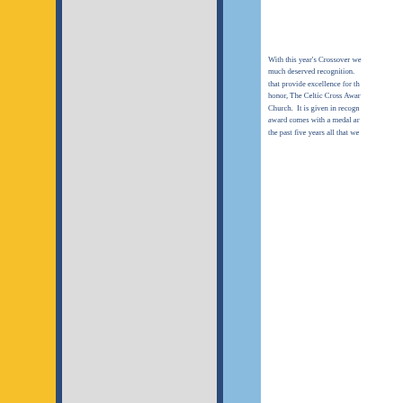With this year's Crossover we give much deserved recognition. that provide excellence for the honor, The Celtic Cross Awar Church. It is given in recogr award comes with a medal ar the past five years all that we